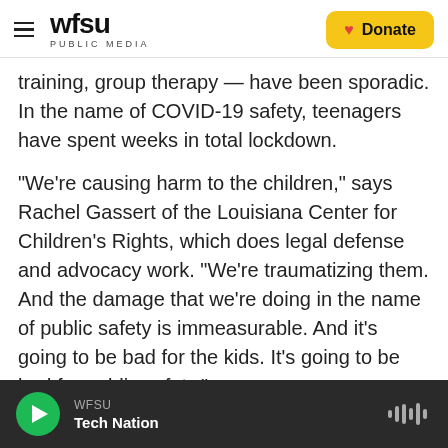WFSU PUBLIC MEDIA | Donate
training, group therapy — have been sporadic. In the name of COVID-19 safety, teenagers have spent weeks in total lockdown.
"We're causing harm to the children," says Rachel Gassert of the Louisiana Center for Children's Rights, which does legal defense and advocacy work. "We're traumatizing them. And the damage that we're doing in the name of public safety is immeasurable. And it's going to be bad for the kids. It's going to be bad for public safety."
Lockdown
WFSU Tech Nation